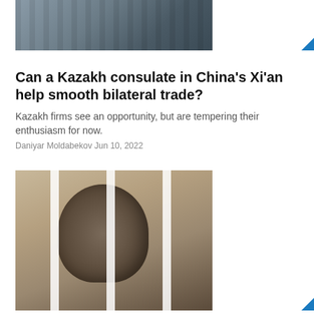[Figure (photo): Partial top image of train or industrial scene in grayscale/blue tones]
Can a Kazakh consulate in China's Xi'an help smooth bilateral trade?
Kazakh firms see an opportunity, but are tempering their enthusiasm for now.
Daniyar Moldabekov Jun 10, 2022
[Figure (photo): Man standing behind prison bars, looking to the side, wearing a black jacket]
Kyrgyzstan: Controversy-mongering health minister ends up behind bars